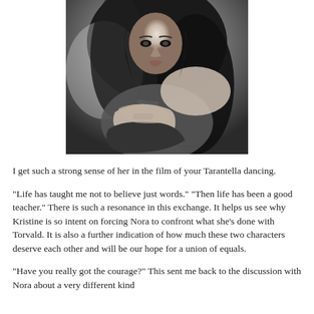[Figure (photo): Black and white photograph of a woman with long dark hair, wearing a dark outfit and a bracelet, hugging herself with arms crossed, looking directly at camera with an intense expression.]
I get such a strong sense of her in the film of your Tarantella dancing.
"Life has taught me not to believe just words." "Then life has been a good teacher." There is such a resonance in this exchange. It helps us see why Kristine is so intent on forcing Nora to confront what she's done with Torvald. It is also a further indication of how much these two characters deserve each other and will be our hope for a union of equals.
"Have you really got the courage?" This sent me back to the discussion with Nora about a very different kind...